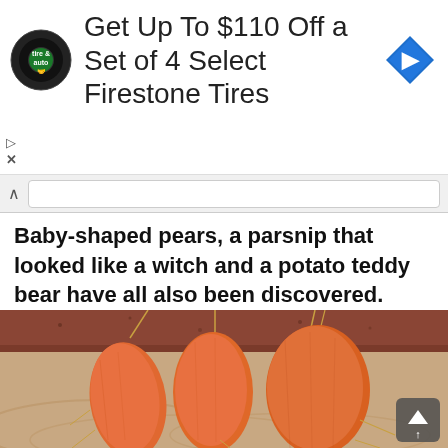[Figure (screenshot): Advertisement banner: Firestone tire & auto logo on left, text 'Get Up To $110 Off a Set of 4 Select Firestone Tires', blue navigation diamond icon on right]
Baby-shaped pears, a parsnip that looked like a witch and a potato teddy bear have all also been discovered.
[Figure (photo): Close-up photograph of three carrots fused together at the base, arranged to look like fingers of a hand, resting on a wooden surface]